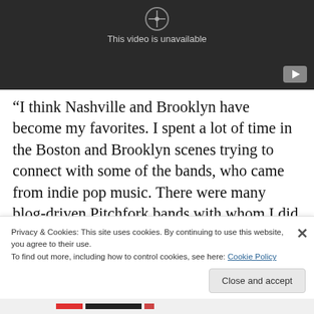[Figure (screenshot): YouTube video embed showing 'This video is unavailable' with dark background and YouTube play button icon in corner]
“I think Nashville and Brooklyn have become my favorites. I spent a lot of time in the Boston and Brooklyn scenes trying to connect with some of the bands, who came from indie pop music. There were many blog-driven Pitchfork bands with whom I did not connect. I was happy to take my act to Nashville where I not only played with large
Privacy & Cookies: This site uses cookies. By continuing to use this website, you agree to their use.
To find out more, including how to control cookies, see here: Cookie Policy
Close and accept